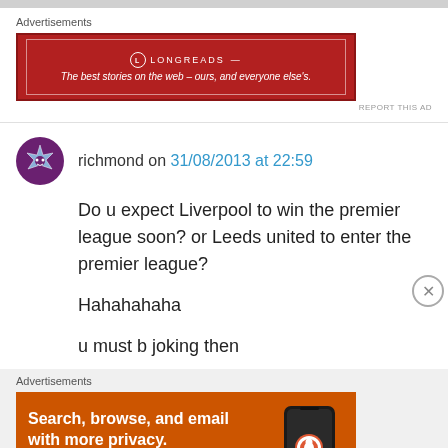[Figure (screenshot): Top gray bar]
Advertisements
[Figure (other): Longreads advertisement banner - red background with white border, logo and tagline: The best stories on the web – ours, and everyone else's.]
REPORT THIS AD
richmond on 31/08/2013 at 22:59
Do u expect Liverpool to win the premier league soon? or Leeds united to enter the premier league?

Hahahahaha

u must b joking then
Advertisements
[Figure (other): DuckDuckGo advertisement - orange background. Text: Search, browse, and email with more privacy. All in One Free App. Shows phone with DuckDuckGo logo.]
REPORT THIS AD